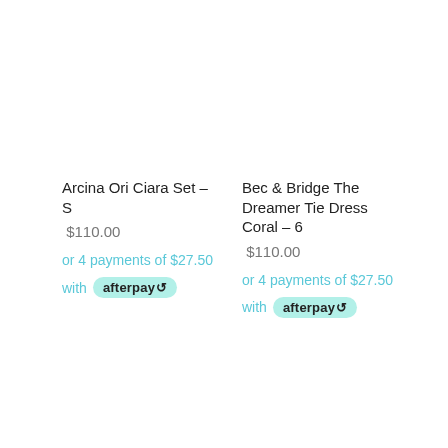Arcina Ori Ciara Set – S
$110.00
or 4 payments of $27.50
with afterpay
Bec & Bridge The Dreamer Tie Dress Coral – 6
$110.00
or 4 payments of $27.50
with afterpay